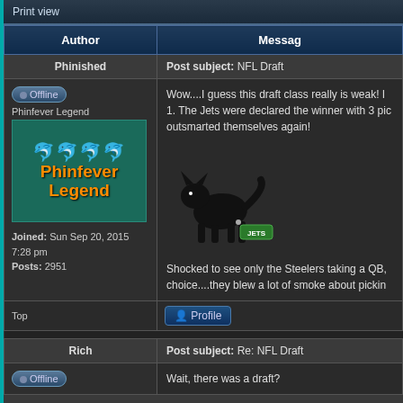Print view
| Author | Message |
| --- | --- |
| Phinished | Post subject: NFL Draft |
| Offline
Phinfever Legend
[avatar]
Joined: Sun Sep 20, 2015 7:28 pm
Posts: 2951 | Wow....I guess this draft class really is weak! I
1. The Jets were declared the winner with 3 pic outsmarted themselves again!
[dog image with JETS tag]
Shocked to see only the Steelers taking a QB,
choice....they blew a lot of smoke about pickin |
| Top | Profile |
| Rich | Post subject: Re: NFL Draft |
| Offline | Wait, there was a draft? |